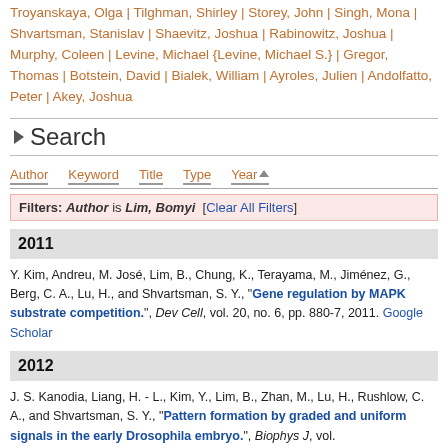Troyanskaya, Olga | Tilghman, Shirley | Storey, John | Singh, Mona | Shvartsman, Stanislav | Shaevitz, Joshua | Rabinowitz, Joshua | Murphy, Coleen | Levine, Michael {Levine, Michael S.} | Gregor, Thomas | Botstein, David | Bialek, William | Ayroles, Julien | Andolfatto, Peter | Akey, Joshua
Search
Author   Keyword   Title   Type   Year▲
Filters: Author is Lim, Bomyi  [Clear All Filters]
2011
Y. Kim, Andreu, M. José, Lim, B., Chung, K., Terayama, M., Jiménez, G., Berg, C. A., Lu, H., and Shvartsman, S. Y., "Gene regulation by MAPK substrate competition.", Dev Cell, vol. 20, no. 6, pp. 880-7, 2011. Google Scholar
2012
J. S. Kanodia, Liang, H. - L., Kim, Y., Lim, B., Zhan, M., Lu, H., Rushlow, C. A., and Shvartsman, S. Y., "Pattern formation by graded and uniform signals in the early Drosophila embryo.", Biophys J, vol.